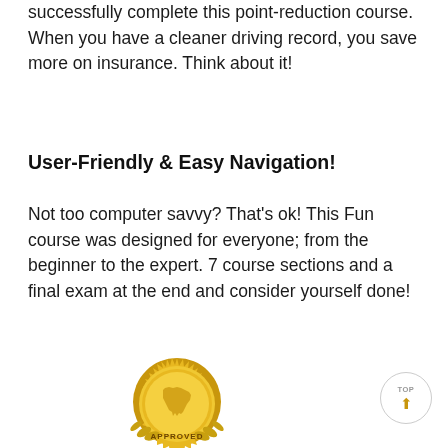successfully complete this point-reduction course. When you have a cleaner driving record, you save more on insurance. Think about it!
User-Friendly & Easy Navigation!
Not too computer savvy? That's ok! This Fun course was designed for everyone; from the beginner to the expert. 7 course sections and a final exam at the end and consider yourself done!
[Figure (illustration): Gold seal badge with Florida state outline and 'APPROVED' text at the bottom, with laurel wreath border]